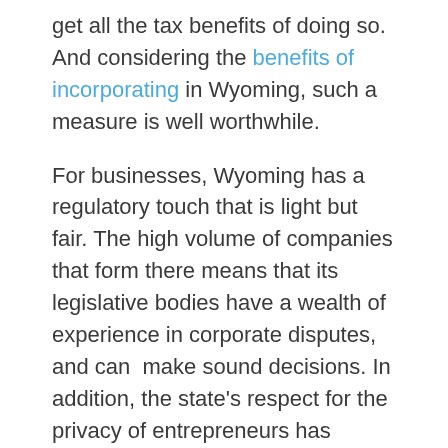get all the tax benefits of doing so. And considering the benefits of incorporating in Wyoming, such a measure is well worthwhile.
For businesses, Wyoming has a regulatory touch that is light but fair. The high volume of companies that form there means that its legislative bodies have a wealth of experience in corporate disputes, and can  make sound decisions. In addition, the state's respect for the privacy of entrepreneurs has proven a very attractive policy for those looking to incorporate. Not only does it allow established companies to protect trade secrets, it can also lessen the hurdles to an enterprising new business-owner.